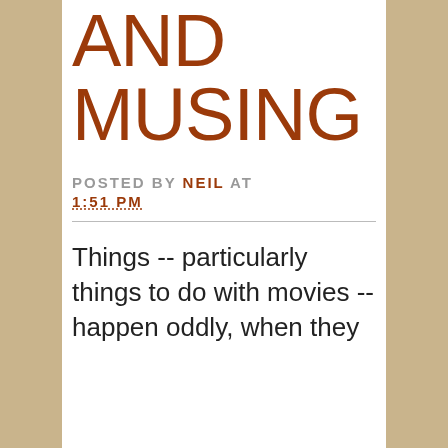NEWS AND MUSING
POSTED BY NEIL AT 1:51 PM
Things -- particularly things to do with movies -- happen oddly, when they